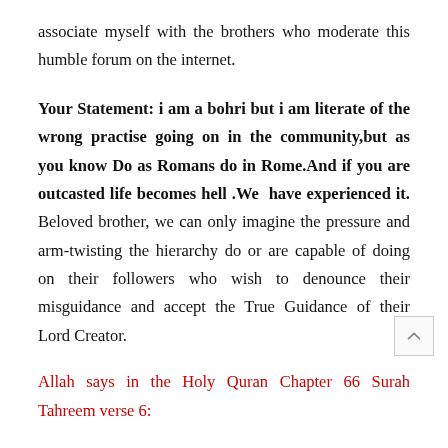associate myself with the brothers who moderate this humble forum on the internet.
Your Statement: i am a bohri but i am literate of the wrong practise going on in the community,but as you know Do as Romans do in Rome.And if you are outcasted life becomes hell .We have experienced it. Beloved brother, we can only imagine the pressure and arm-twisting the hierarchy do or are capable of doing on their followers who wish to denounce their misguidance and accept the True Guidance of their Lord Creator.
Allah says in the Holy Quran Chapter 66 Surah Tahreem verse 6: